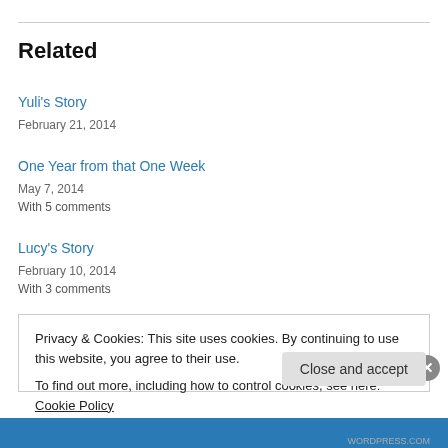Related
Yuli's Story
February 21, 2014
One Year from that One Week
May 7, 2014
With 5 comments
Lucy's Story
February 10, 2014
With 3 comments
Privacy & Cookies: This site uses cookies. By continuing to use this website, you agree to their use.
To find out more, including how to control cookies, see here: Cookie Policy
Close and accept